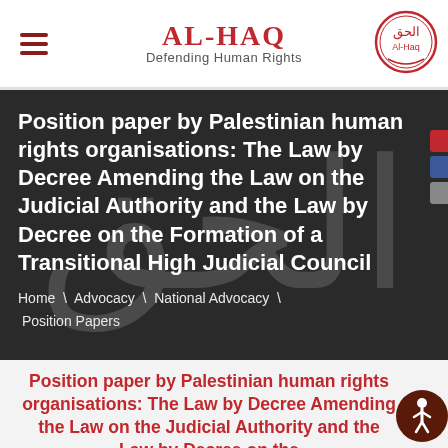AL-HAQ Defending Human Rights
Position paper by Palestinian human rights organisations: The Law by Decree Amending the Law on the Judicial Authority and the Law by Decree on the Formation of a Transitional High Judicial Council
Home \ Advocacy \ National Advocacy \ Position Papers
Position paper by Palestinian human rights organisations: The Law by Decree Amending the Law on the Judicial Authority and the Law by Decree on the